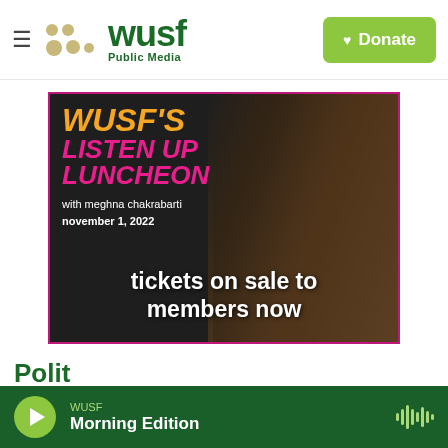WUSF Public Media — Donate
[Figure (photo): WUSF's Listen Up Luncheon event promotional image featuring Meghna Chakrabarti. Text overlays: WUSF'S LISTEN UP LUNCHEON with meghna chakrabarti november 1, 2022 tickets on sale to members now]
Polit...
WUSF Morning Edition — Play button and waveform icon